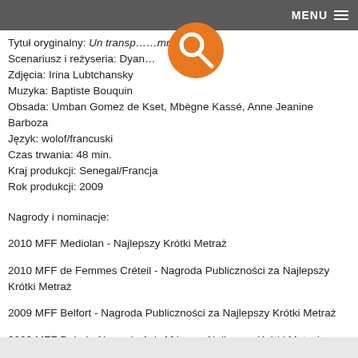MENU
Tytuł oryginalny: Un transp...mmun
Scenariusz i reżyseria: Dyan...
Zdjęcia: Irina Lubtchansky
Muzyka: Baptiste Bouquin
Obsada: Umban Gomez de Kset, Mbègne Kassé, Anne Jeanine Barboza
Język: wolof/francuski
Czas trwania: 48 min.
Kraj produkcji: Senegal/Francja
Rok produkcji: 2009
Nagrody i nominacje:
2010 MFF Mediolan - Najlepszy Krótki Metraż
2010 MFF de Femmes Créteil - Nagroda Publiczności za Najlepszy Krótki Metraż
2009 MFF Belfort - Nagroda Publiczności za Najlepszy Krótki Metraż
2009 MFF Dubai - Nagroda AsiaAfrica za Najlepszy Krótki Metraż
2009 MMF Sundance - Oficjalna selekcja
Source:
http://www.afrykamera.pl/pl/?req=movies&movieId=36